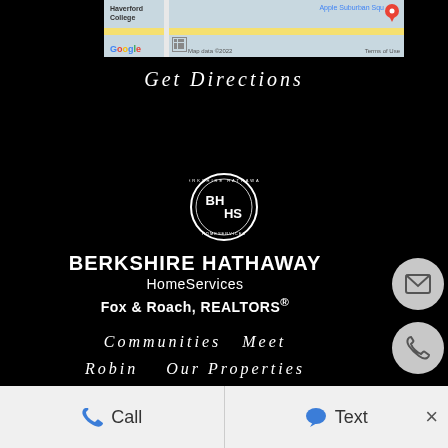[Figure (map): Google Maps screenshot showing Haverford College area with map data ©2022 and Terms of Use label]
Get Directions
[Figure (logo): Berkshire Hathaway HomeServices circular logo with BH HS initials]
BERKSHIRE HATHAWAY HomeServices Fox & Roach, REALTORS®
[Figure (illustration): Email icon button (envelope) - white circle with envelope icon]
[Figure (illustration): Phone icon button - white circle with phone handset icon]
Communities   Meet Robin   Our Properties   O:610-649-4500
website designed and developed by